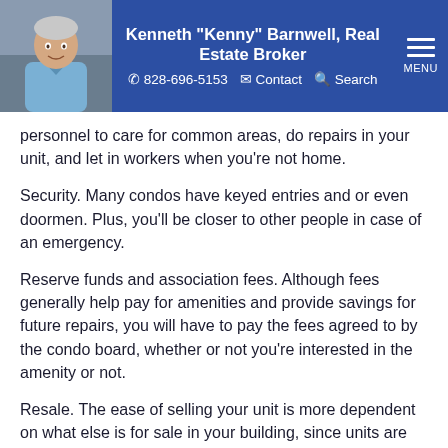Kenneth "Kenny" Barnwell, Real Estate Broker | 828-696-5153 | Contact | Search | MENU
personnel to care for common areas, do repairs in your unit, and let in workers when you’re not home.
Security. Many condos have keyed entries and or even doormen. Plus, you’ll be closer to other people in case of an emergency.
Reserve funds and association fees. Although fees generally help pay for amenities and provide savings for future repairs, you will have to pay the fees agreed to by the condo board, whether or not you’re interested in the amenity or not.
Resale. The ease of selling your unit is more dependent on what else is for sale in your building, since units are usually fairly similar. Single-family homes are usually more individual, so ever if there are others for sale in your area, they probably won’t be exactly like yours.